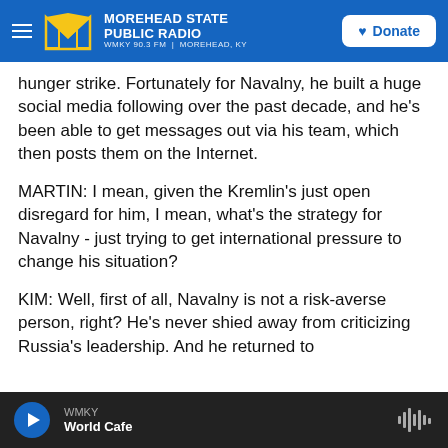MOREHEAD STATE PUBLIC RADIO — WMKY 90.3 FM | MOREHEAD, KY — Donate
hunger strike. Fortunately for Navalny, he built a huge social media following over the past decade, and he's been able to get messages out via his team, which then posts them on the Internet.
MARTIN: I mean, given the Kremlin's just open disregard for him, I mean, what's the strategy for Navalny - just trying to get international pressure to change his situation?
KIM: Well, first of all, Navalny is not a risk-averse person, right? He's never shied away from criticizing Russia's leadership. And he returned to
WMKY — World Cafe